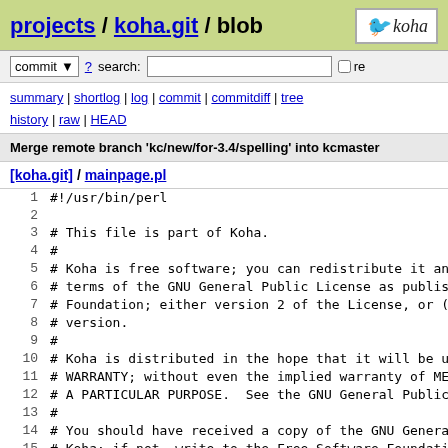projects / koha.git / blob
commit ? search: re
summary | shortlog | log | commit | commitdiff | tree history | raw | HEAD
Merge remote branch 'kc/new/for-3.4/spelling' into kcmaster
[koha.git] / mainpage.pl
1 #!/usr/bin/perl
2 
3 # This file is part of Koha.
4 #
5 # Koha is free software; you can redistribute it and/or
6 # terms of the GNU General Public License as published
7 # Foundation; either version 2 of the License, or (at y
8 # version.
9 #
10 # Koha is distributed in the hope that it will be usefu
11 # WARRANTY; without even the implied warranty of MERCHA
12 # A PARTICULAR PURPOSE.  See the GNU General Public Lic
13 #
14 # You should have received a copy of the GNU General Pu
15 # Koha; if not, write to the Free Software Foundation,
16 # Suite 330, Boston, MA  02111-1307 USA
17 #
18